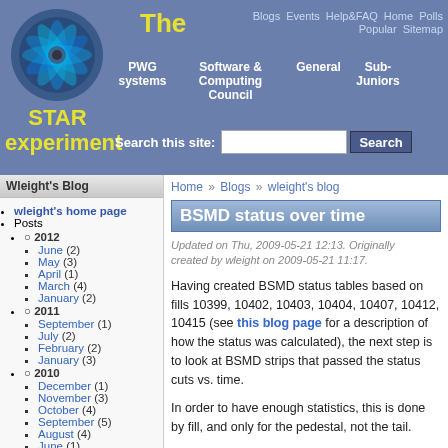The STAR experiment — navigation header with Blogs, Events, Help&FAQ, Home, Polls, Popular, Sitemap, PWG systems, Software & Computing Council, General, Sub-Juniors, Search
Wleight's Blog
wleight's home page
Posts
2012
June (2)
May (3)
April (1)
March (4)
January (2)
2011
September (1)
July (2)
February (2)
January (3)
2010
December (1)
November (3)
October (4)
September (5)
August (4)
June (1)
Home » Blogs » wleight's blog
BSMD status over time
Updated on Thu, 2009-05-21 12:13. Originally created by wleight on 2009-05-21 11:17.
Having created BSMD status tables based on fills 10399, 10402, 10403, 10404, 10407, 10412, 10415 (see this blog page for a description of how the status was calculated), the next step is to look at BSMD strips that passed the status cuts vs. time.
In order to have enough statistics, this is done by fill, and only for the pedestal, not the tail.
First, a pedestal correction is obtained